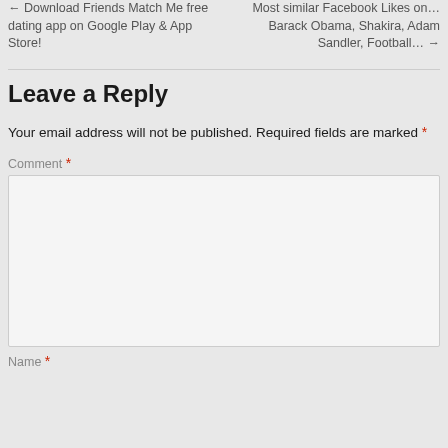← Download Friends Match Me free dating app on Google Play & App Store!
Most similar Facebook Likes on… Barack Obama, Shakira, Adam Sandler, Football… →
Leave a Reply
Your email address will not be published. Required fields are marked *
Comment *
Name *